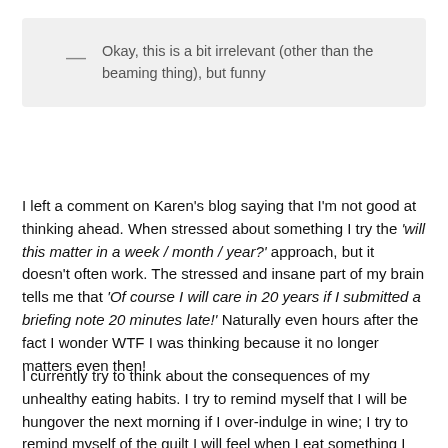— Okay, this is a bit irrelevant (other than the beaming thing), but funny
I left a comment on Karen's blog saying that I'm not good at thinking ahead. When stressed about something I try the 'will this matter in a week / month / year?' approach, but it doesn't often work. The stressed and insane part of my brain tells me that 'Of course I will care in 20 years if I submitted a briefing note 20 minutes late!' Naturally even hours after the fact I wonder WTF I was thinking because it no longer matters even then!
I currently try to think about the consequences of my unhealthy eating habits. I try to remind myself that I will be hungover the next morning if I over-indulge in wine; I try to remind myself of the guilt I will feel when I eat something I shouldn't; and I try to remind myself that I will